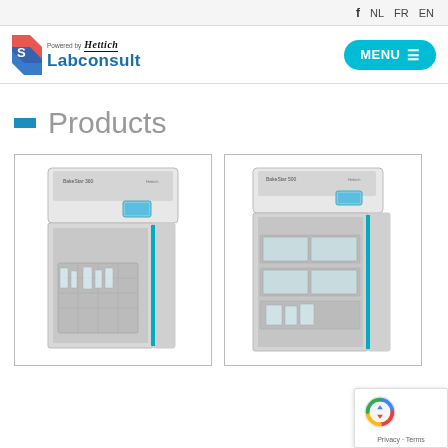f NL FR EN
[Figure (logo): Labconsult logo powered by Hettich with S-shaped mark]
[Figure (other): MENU hamburger button in teal/cyan rounded rectangle]
Products
[Figure (photo): Laboratory washer/dishwasher unit with open door showing interior basket with glassware]
[Figure (photo): Larger laboratory cabinet/washer unit with open door showing multiple shelves and trays]